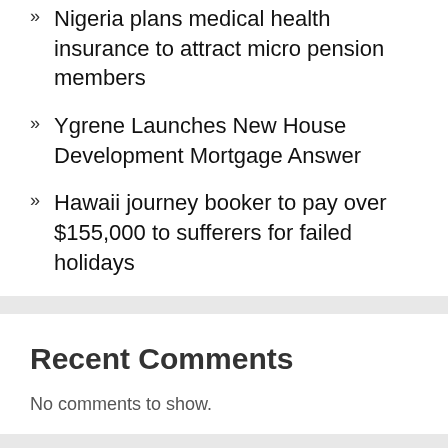Nigeria plans medical health insurance to attract micro pension members
Ygrene Launches New House Development Mortgage Answer
Hawaii journey booker to pay over $155,000 to sufferers for failed holidays
Recent Comments
No comments to show.